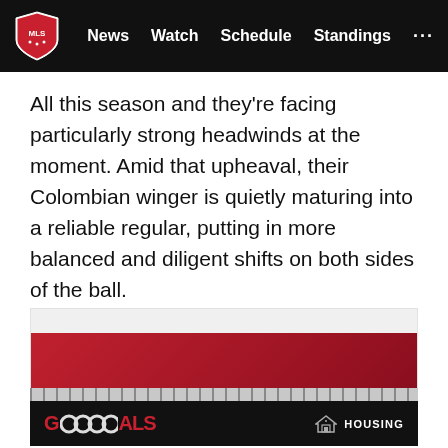MLS — News | Watch | Schedule | Standings | ...
All this season and they're facing particularly strong headwinds at the moment. Amid that upheaval, their Colombian winger is quietly maturing into a reliable regular, putting in more balanced and diligent shifts on both sides of the ball.
[Figure (other): MLS advertisement banner with red accent]
[Figure (other): Audi Goals - Housing advertisement banner with Audi rings logo on black background]